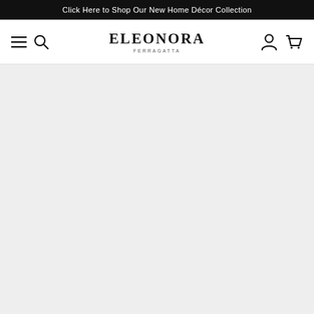Click Here to Shop Our New Home Décor Collection
[Figure (logo): ELEONORA FERRAGATTA brand logo with large serif uppercase text and smaller spaced subtitle]
[Figure (screenshot): Empty gray content area below the navigation bar]